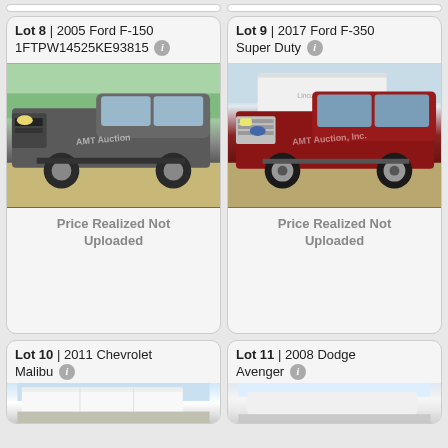[Figure (other): Auction listing card for Lot 8: 2005 Ford F-150, VIN 1FTPW14525KE93815. Photo shows a dark gray pickup truck. Price Realized Not Uploaded.]
Lot 8 | 2005 Ford F-150 1FTPW14525KE93815
Price Realized Not Uploaded
[Figure (other): Auction listing card for Lot 9: 2017 Ford F-350 Super Duty. Photo shows a red pickup truck with a white camper in the background. Price Realized Not Uploaded.]
Lot 9 | 2017 Ford F-350 Super Duty
Price Realized Not Uploaded
[Figure (other): Auction listing card for Lot 10: 2011 Chevrolet Malibu. Partial photo visible at bottom of page.]
Lot 10 | 2011 Chevrolet Malibu
[Figure (other): Auction listing card for Lot 11: 2008 Dodge Avenger. Partial photo visible at bottom of page.]
Lot 11 | 2008 Dodge Avenger